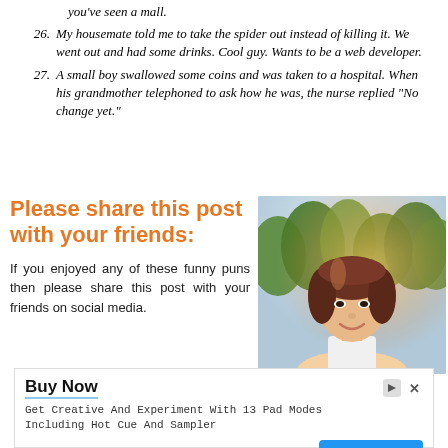you've seen a mall.
26. My housemate told me to take the spider out instead of killing it. We went out and had some drinks. Cool guy. Wants to be a web developer.
27. A small boy swallowed some coins and was taken to a hospital. When his grandmother telephoned to ask how he was, the nurse replied "No change yet."
Please share this post with your friends:
If you enjoyed any of these funny puns then please share this post with your friends on social media.
[Figure (photo): Smiling young woman with long brown hair outdoors with trees in background]
Buy Now
Get Creative And Experiment With 13 Pad Modes Including Hot Cue And Sampler
Pioneer DJ  Open